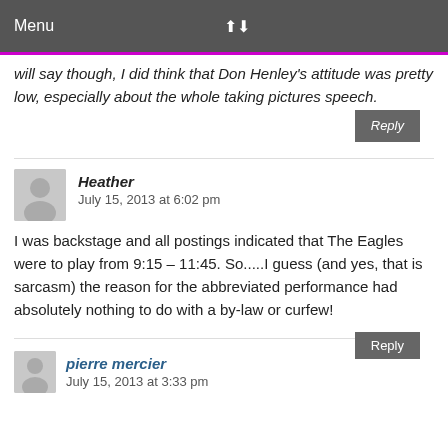Menu
will say though, I did think that Don Henley's attitude was pretty low, especially about the whole taking pictures speech.
Reply
Heather
July 15, 2013 at 6:02 pm
I was backstage and all postings indicated that The Eagles were to play from 9:15 – 11:45. So.....I guess (and yes, that is sarcasm) the reason for the abbreviated performance had absolutely nothing to do with a by-law or curfew!
Reply
pierre mercier
July 15, 2013 at 3:33 pm